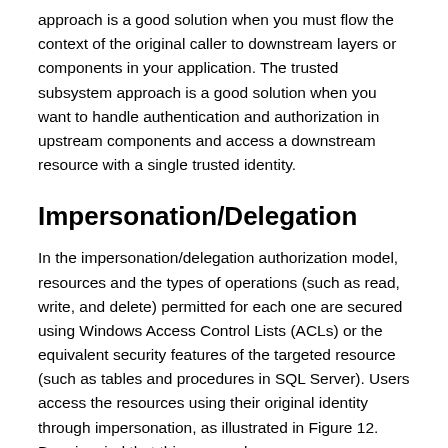approach is a good solution when you must flow the context of the original caller to downstream layers or components in your application. The trusted subsystem approach is a good solution when you want to handle authentication and authorization in upstream components and access a downstream resource with a single trusted identity.
Impersonation/Delegation
In the impersonation/delegation authorization model, resources and the types of operations (such as read, write, and delete) permitted for each one are secured using Windows Access Control Lists (ACLs) or the equivalent security features of the targeted resource (such as tables and procedures in SQL Server). Users access the resources using their original identity through impersonation, as illustrated in Figure 12. Bear in mind that this approach may